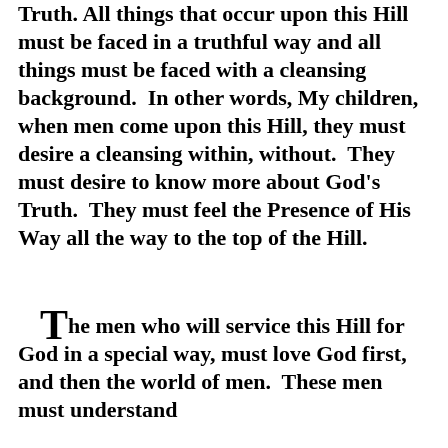Truth. All things that occur upon this Hill must be faced in a truthful way and all things must be faced with a cleansing background.  In other words, My children, when men come upon this Hill, they must desire a cleansing within, without.  They must desire to know more about God's Truth.  They must feel the Presence of His Way all the way to the top of the Hill.
The men who will service this Hill for God in a special way, must love God first, and then the world of men.  These men must understand